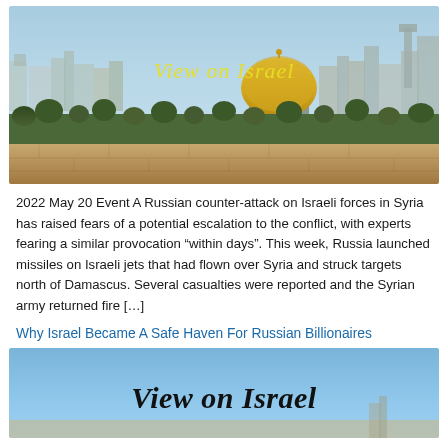[Figure (photo): Aerial/panoramic view of Jerusalem with the Dome of the Rock visible. Golden dome prominent against a cityscape. Text 'View on Israel' overlaid in yellow italic script.]
2022 May 20 Event A Russian counter-attack on Israeli forces in Syria has raised fears of a potential escalation to the conflict, with experts fearing a similar provocation “within days”. This week, Russia launched missiles on Israeli jets that had flown over Syria and struck targets north of Damascus. Several casualties were reported and the Syrian army returned fire […]
Why Israel Became A Safe Haven For Russian Billionaires
[Figure (photo): Blue sky background with Jerusalem/Israel cityscape partially visible at bottom. Text 'View on Israel' overlaid in large black italic script.]